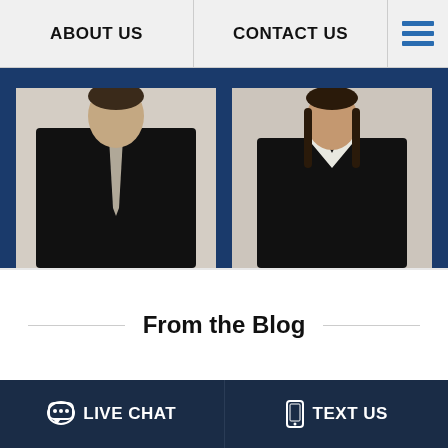ABOUT US | CONTACT US
[Figure (photo): Two professional lawyers in business attire on dark blue background]
From the Blog
[Figure (photo): Two people, one elderly bald man and one younger person, in a consultation setting]
LIVE CHAT | TEXT US